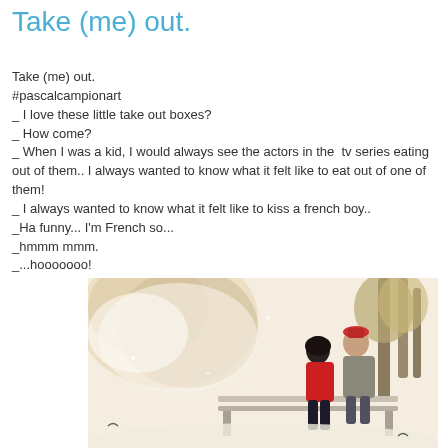Take (me) out.
Take (me) out.
#pascalcampionart
_ I love these little take out boxes?
_ How come?
_ When I was a kid, I would always see the actors in the  tv series eating out of them.. I always wanted to know what it felt like to eat out of one of them!
_ I always wanted to know what it felt like to kiss a french boy..
_Ha funny... I'm French so...
_hmmm mmm.
_...hooooooo!
[Figure (illustration): Digital illustration of a couple sitting on a park bench in winter/autumn setting, woman in red outfit with dark hair, man in grey jacket with red hat, surrounded by impressionistic trees and snow/leaves]